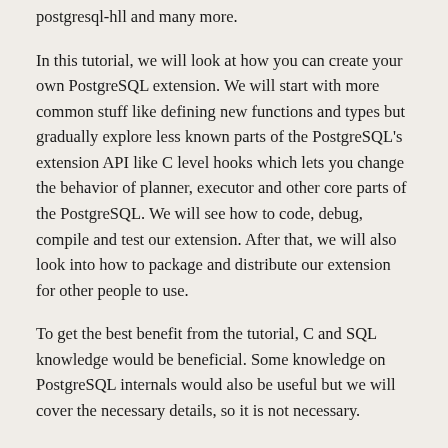postgresql-hll and many more.
In this tutorial, we will look at how you can create your own PostgreSQL extension. We will start with more common stuff like defining new functions and types but gradually explore less known parts of the PostgreSQL's extension API like C level hooks which lets you change the behavior of planner, executor and other core parts of the PostgreSQL. We will see how to code, debug, compile and test our extension. After that, we will also look into how to package and distribute our extension for other people to use.
To get the best benefit from the tutorial, C and SQL knowledge would be beneficial. Some knowledge on PostgreSQL internals would also be useful but we will cover the necessary details, so it is not necessary.
Slides
The following slides have been made available for this